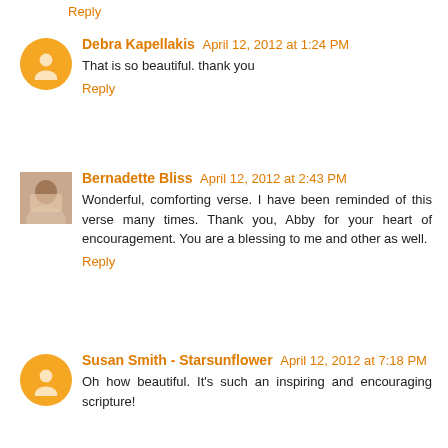Reply
Debra Kapellakis  April 12, 2012 at 1:24 PM
That is so beautiful. thank you
Reply
Bernadette Bliss  April 12, 2012 at 2:43 PM
Wonderful, comforting verse. I have been reminded of this verse many times. Thank you, Abby for your heart of encouragement. You are a blessing to me and other as well.
Reply
Susan Smith - Starsunflower  April 12, 2012 at 7:18 PM
Oh how beautiful. It's such an inspiring and encouraging scripture!